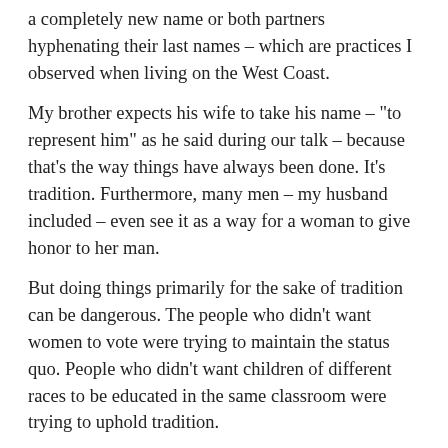a completely new name or both partners hyphenating their last names – which are practices I observed when living on the West Coast.
My brother expects his wife to take his name – "to represent him" as he said during our talk – because that's the way things have always been done. It's tradition. Furthermore, many men – my husband included – even see it as a way for a woman to give honor to her man.
But doing things primarily for the sake of tradition can be dangerous. The people who didn't want women to vote were trying to maintain the status quo. People who didn't want children of different races to be educated in the same classroom were trying to uphold tradition.
Now I'm in no way saying this name issue is as serious as women's suffrage or racial segregation. The act of keeping one's maiden name is mostly a statement, but an important one; it is a statement against the sexism that is still alive and well in our country.
Some people say it's silly for a woman to try to fight